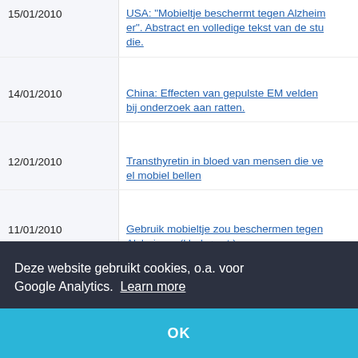15/01/2010 USA: "Mobieltje beschermt tegen Alzheimer". Abstract en volledige tekst van de studie.
14/01/2010 China: Effecten van gepulste EM velden bij onderzoek aan ratten.
12/01/2010 Transthyretin in bloed van mensen die veel mobiel bellen
11/01/2010 Gebruik mobieltje zou beschermen tegen Alzheimer. (Upd. +ext.)
06/01/2010 Italie: DNA beschadiging door GSM signaal bevestigd.
31/12/2009 Onderzoek van Adang nu ook op YouTub
Deze website gebruikt cookies, o.a. voor Google Analytics. Learn more
OK